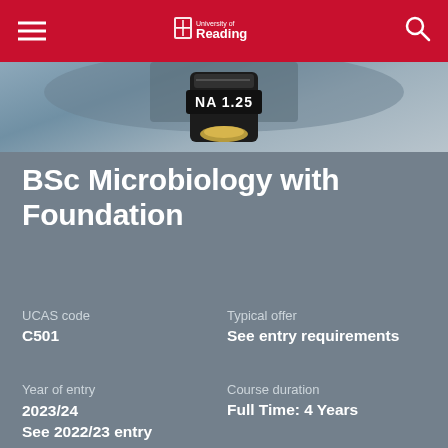University of Reading
[Figure (photo): Microscope objective lens showing NA 1.25 label, close-up photo with dark metallic equipment on gray-blue background]
BSc Microbiology with Foundation
UCAS code
C501
Typical offer
See entry requirements
Year of entry
2023/24
See 2022/23 entry
Course duration
Full Time: 4 Years